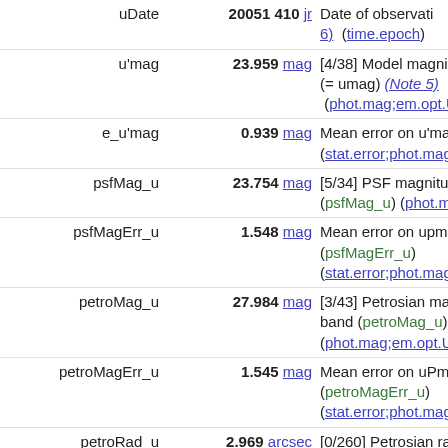| Field | Value | Description |
| --- | --- | --- |
| uDate | 20051 410 jr | Date of observation... (time.epoch) |
| u'mag | 23.959 mag | [4/38] Model magni... (= umag) (Note 5) (phot.mag;em.opt.U) |
| e_u'mag | 0.939 mag | Mean error on u'mag (stat.error;phot.mag) |
| psfMag_u | 23.754 mag | [5/34] PSF magnitude (psfMag_u) (phot.m...) |
| psfMagErr_u | 1.548 mag | Mean error on upma (psfMagErr_u) (stat.error;phot.mag) |
| petroMag_u | 27.984 mag | [3/43] Petrosian mag band (petroMag_u) (phot.mag;em.opt.U) |
| petroMagErr_u | 1.545 mag | Mean error on uPma (petroMagErr_u) (stat.error;phot.mag) |
| petroRad_u | 2.969 arcsec | [0/260] Petrosian ra (petroRad_u) (phys...) |
| petroRadErr_u | arcsec | Mean error in uPrad (petroRadErr_u) (sta...) |
| offsetRa_u | 0.06 arcsec | Offset of u position (offsetRa_u) (pos...) |